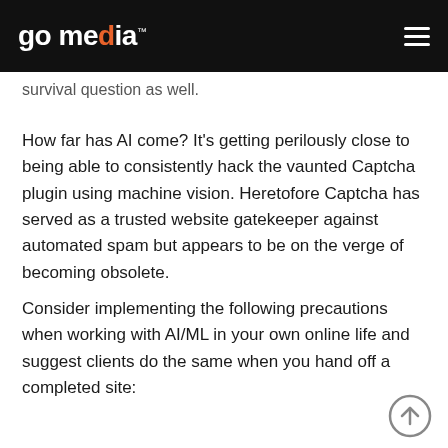go media™
survival question as well.
How far has AI come? It's getting perilously close to being able to consistently hack the vaunted Captcha plugin using machine vision. Heretofore Captcha has served as a trusted website gatekeeper against automated spam but appears to be on the verge of becoming obsolete.
Consider implementing the following precautions when working with AI/ML in your own online life and suggest clients do the same when you hand off a completed site: